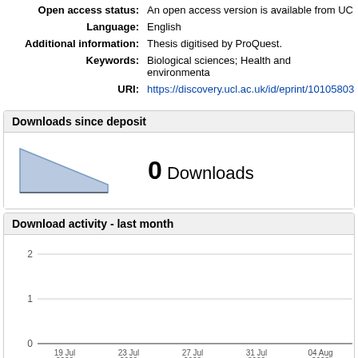| Open access status: | An open access version is available from UC |
| Language: | English |
| Additional information: | Thesis digitised by ProQuest. |
| Keywords: | Biological sciences; Health and environmenta |
| URI: | https://discovery.ucl.ac.uk/id/eprint/10105803 |
Downloads since deposit
[Figure (area-chart): Area chart showing download trend, declining from left to right, with 0 total downloads label]
0 Downloads
Download activity - last month
[Figure (line-chart): Download activity - last month]